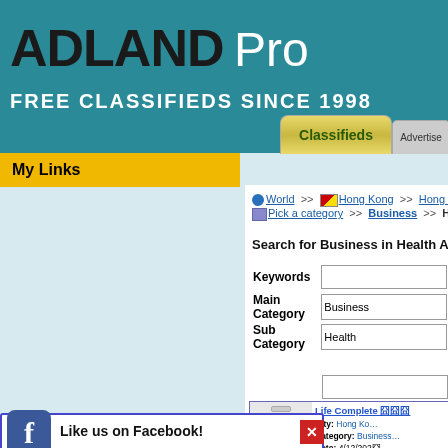ADLANDPro FREE CLASSIFIEDS SINCE 1998
My Links
World >> Hong Kong >> Hong Kong (囧囧) >> Pick a category >> Business >> Health
Search for Business in Health Ads in Hong Kong
| Field | Value |
| --- | --- |
| Keywords |  |
| Main Category | Business |
| Sub Category | Health |
Life Complete 囧囧囧
City: Hong Kong
Category: Business
Date: 4/12/202囧
Description: 囧囧囧囧囧囧囧囧囧囧 囧囧囧囧囧 Life
Like us on Facebook!